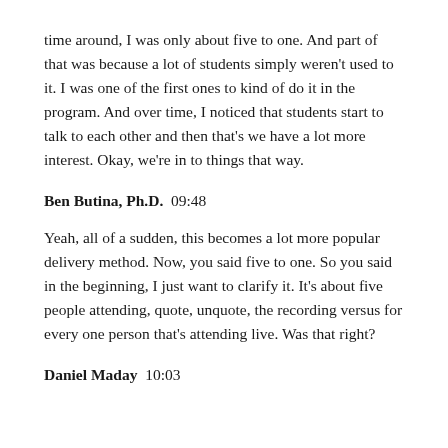time around, I was only about five to one. And part of that was because a lot of students simply weren't used to it. I was one of the first ones to kind of do it in the program. And over time, I noticed that students start to talk to each other and then that's we have a lot more interest. Okay, we're in to things that way.
Ben Butina, Ph.D.  09:48
Yeah, all of a sudden, this becomes a lot more popular delivery method. Now, you said five to one. So you said in the beginning, I just want to clarify it. It's about five people attending, quote, unquote, the recording versus for every one person that's attending live. Was that right?
Daniel Maday  10:03